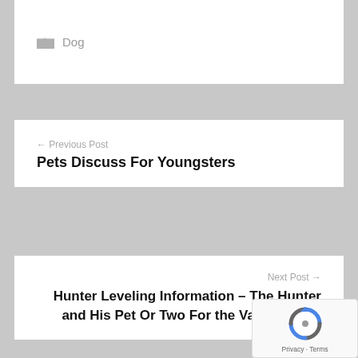Dog
← Previous Post
Pets Discuss For Youngsters
Next Post →
Hunter Leveling Information – The Hunter and His Pet Or Two For the Value of One
Search …
[Figure (logo): reCAPTCHA badge with logo and Privacy · Terms text]